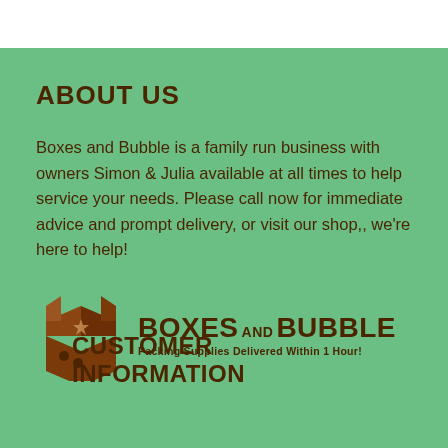ABOUT US
Boxes and Bubble is a family run business with owners Simon & Julia available at all times to help service your needs. Please call now for immediate advice and prompt delivery, or visit our shop,, we're here to help!
[Figure (logo): Boxes and Bubble logo with a brown open cardboard box icon and text 'BOXES AND BUBBLE' with tagline 'Packing Supplies Delivered Within 1 Hour!']
CUSTOMER INFORMATION